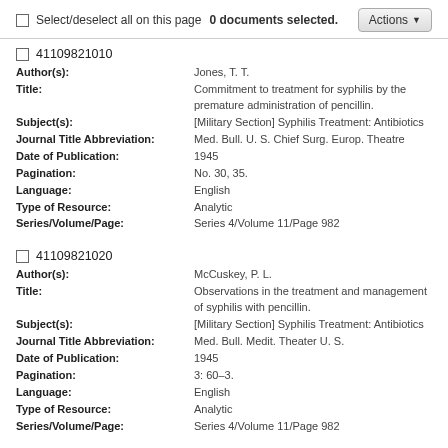Select/deselect all on this page   0 documents selected.   Actions
41109821010
Author(s): Jones, T. T.
Title: Commitment to treatment for syphilis by the premature administration of pencillin.
Subject(s): [Military Section] Syphilis Treatment: Antibiotics
Journal Title Abbreviation: Med. Bull. U. S. Chief Surg. Europ. Theatre
Date of Publication: 1945
Pagination: No. 30, 35.
Language: English
Type of Resource: Analytic
Series/Volume/Page: Series 4/Volume 11/Page 982
41109821020
Author(s): McCuskey, P. L.
Title: Observations in the treatment and management of syphilis with pencillin.
Subject(s): [Military Section] Syphilis Treatment: Antibiotics
Journal Title Abbreviation: Med. Bull. Medit. Theater U. S.
Date of Publication: 1945
Pagination: 3: 60-3.
Language: English
Type of Resource: Analytic
Series/Volume/Page: Series 4/Volume 11/Page 982
41109821030
Author(s): MacKenzie, D. J.
Wrong, N. M.